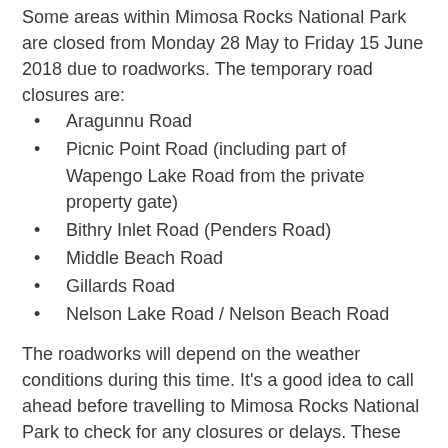Some areas within Mimosa Rocks National Park are closed from Monday 28 May to Friday 15 June 2018 due to roadworks. The temporary road closures are:
Aragunnu Road
Picnic Point Road (including part of Wapengo Lake Road from the private property gate)
Bithry Inlet Road (Penders Road)
Middle Beach Road
Gillards Road
Nelson Lake Road / Nelson Beach Road
The roadworks will depend on the weather conditions during this time. It's a good idea to call ahead before travelling to Mimosa Rocks National Park to check for any closures or delays. These closures may be extended with an extension posted as soon as possible.